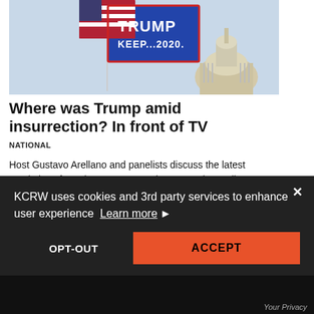[Figure (photo): Trump 2020 flag waving in front of the US Capitol dome against a light blue sky]
Where was Trump amid insurrection? In front of TV
NATIONAL
Host Gustavo Arellano and panelists discuss the latest revelations from the January 6 Select Committee, climate legislation, and rising COVID
KCRW uses cookies and 3rd party services to enhance user experience  Learn more
OPT-OUT
ACCEPT